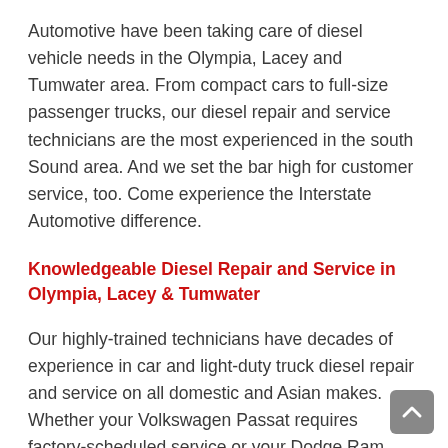Automotive have been taking care of diesel vehicle needs in the Olympia, Lacey and Tumwater area. From compact cars to full-size passenger trucks, our diesel repair and service technicians are the most experienced in the south Sound area. And we set the bar high for customer service, too. Come experience the Interstate Automotive difference.
Knowledgeable Diesel Repair and Service in Olympia, Lacey & Tumwater
Our highly-trained technicians have decades of experience in car and light-duty truck diesel repair and service on all domestic and Asian makes. Whether your Volkswagen Passat requires factory-scheduled service or your Dodge Ram 3500 needs Cummins